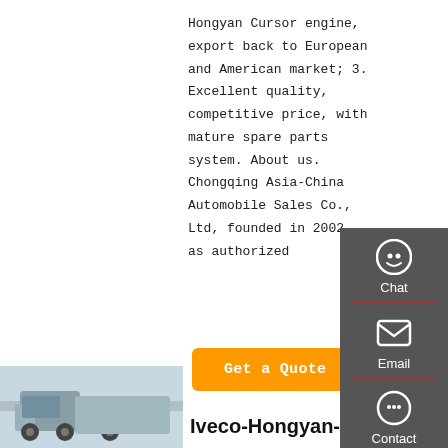Hongyan Cursor engine, export back to European and American market; 3. Excellent quality, competitive price, with mature spare parts system. About us. Chongqing Asia-China Automobile Sales Co., Ltd, founded in 2002 as authorized
[Figure (other): Sidebar navigation panel with Chat, Email, Contact, and Top buttons on dark gray background]
Get a Quote
[Figure (photo): Truck/vehicle photo at bottom left]
Iveco-Hongyan-